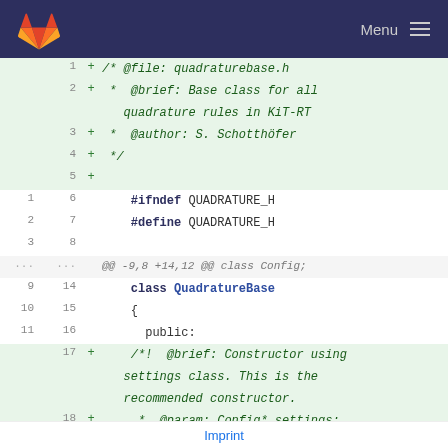GitLab — Menu
[Figure (screenshot): Git diff view showing additions to a C++ header file for QuadratureBase class. Lines 1-5 are added (green background) showing file comment block with @file, @brief, @author annotations. Lines 6-8 show #ifndef and #define QUADRATURE_H guards and blank line. Lines 9-11 show class QuadatureBase with opening brace and public:. Lines 14-19 show added constructor comment and QuadratureBase constructor declaration.]
Imprint